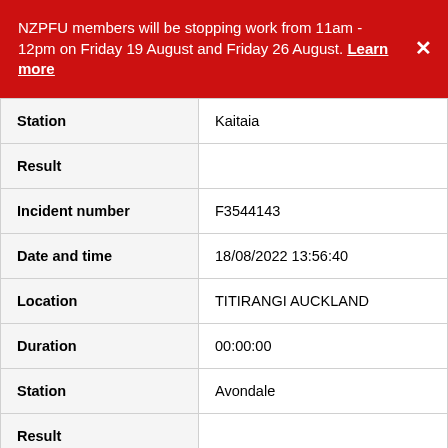NZPFU members will be stopping work from 11am - 12pm on Friday 19 August and Friday 26 August. Learn more
| Field | Value |
| --- | --- |
| Station | Kaitaia |
| Result |  |
| Incident number | F3544143 |
| Date and time | 18/08/2022 13:56:40 |
| Location | TITIRANGI AUCKLAND |
| Duration | 00:00:00 |
| Station | Avondale |
| Result |  |